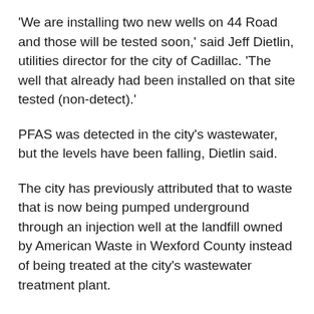'We are installing two new wells on 44 Road and those will be tested soon,' said Jeff Dietlin, utilities director for the city of Cadillac. 'The well that already had been installed on that site tested (non-detect).'
PFAS was detected in the city's wastewater, but the levels have been falling, Dietlin said.
The city has previously attributed that to waste that is now being pumped underground through an injection well at the landfill owned by American Waste in Wexford County instead of being treated at the city's wastewater treatment plant.
PFAS chemicals have been found in nearby drinking